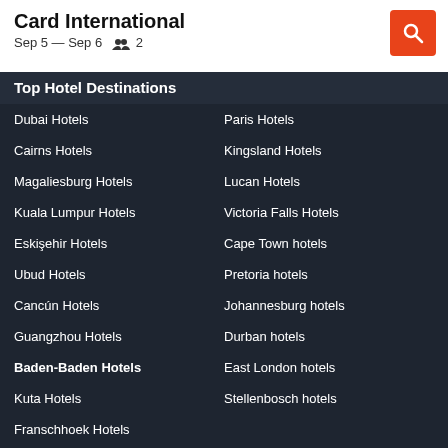Card International
Sep 5 — Sep 6    2
Top Hotel Destinations
Dubai Hotels
Paris Hotels
Cairns Hotels
Kingsland Hotels
Magaliesburg Hotels
Lucan Hotels
Kuala Lumpur Hotels
Victoria Falls Hotels
Eskişehir Hotels
Cape Town hotels
Ubud Hotels
Pretoria hotels
Cancún Hotels
Johannesburg hotels
Guangzhou Hotels
Durban hotels
Baden-Baden Hotels
East London hotels
Kuta Hotels
Stellenbosch hotels
Franschhoek Hotels
Site
SOUTH AFRICA